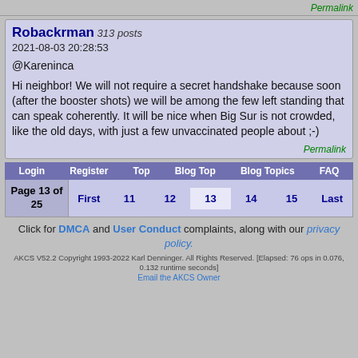Permalink
Robackrman 313 posts
2021-08-03 20:28:53
@Kareninca

Hi neighbor! We will not require a secret handshake because soon (after the booster shots) we will be among the few left standing that can speak coherently. It will be nice when Big Sur is not crowded, like the old days, with just a few unvaccinated people about ;-)
Permalink
Login Register Top Blog Top Blog Topics FAQ
Page 13 of 25 First 11 12 13 14 15 Last
Click for DMCA and User Conduct complaints, along with our privacy policy.
AKCS V52.2 Copyright 1993-2022 Karl Denninger. All Rights Reserved. [Elapsed: 76 ops in 0.076, 0.132 runtime seconds]
Email the AKCS Owner